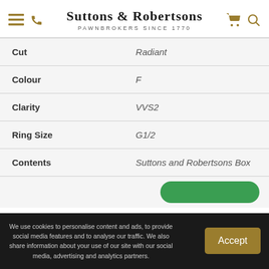Suttons & Robertsons — Pawnbrokers Since 1770
| Attribute | Value |
| --- | --- |
| Cut | Radiant |
| Colour | F |
| Clarity | VVS2 |
| Ring Size | G1/2 |
| Contents | Suttons and Robertsons Box |
We use cookies to personalise content and ads, to provide social media features and to analyse our traffic. We also share information about your use of our site with our social media, advertising and analytics partners.